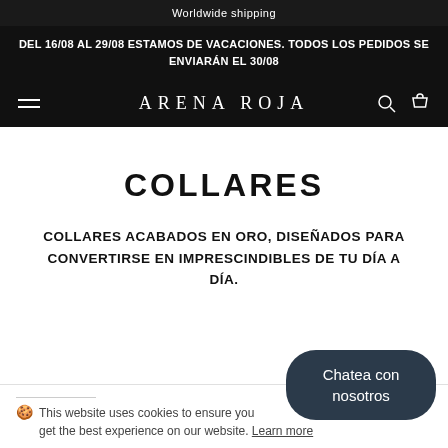Worldwide shipping
DEL 16/08 AL 29/08 ESTAMOS DE VACACIONES. TODOS LOS PEDIDOS SE ENVIARÁN EL 30/08
ARENA ROJA
COLLARES
COLLARES ACABADOS EN ORO, DISEÑADOS PARA CONVERTIRSE EN IMPRESCINDIBLES DE TU DÍA A DÍA.
This website uses cookies to ensure you get the best experience on our website. Learn more